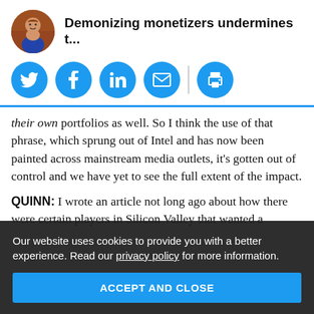Demonizing monetizers undermines t...
[Figure (infographic): Social share buttons: Twitter, Facebook, LinkedIn, Email, Print — circular blue icons]
their own portfolios as well. So I think the use of that phrase, which sprung out of Intel and has now been painted across mainstream media outlets, it's gotten out of control and we have yet to see the full extent of the impact.
QUINN: I wrote an article not long ago about how there were certain players in Silicon Valley that wanted a [text obscured by overlay]... Now, I [text obscured] ... things that will be ... and ... specific s[text obscured]
and noticed what was going to happen. Weakening
Our website uses cookies to provide you with a better experience. Read our privacy policy for more information.
ACCEPT AND CLOSE